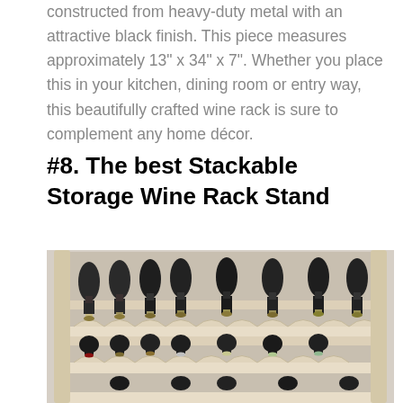constructed from heavy-duty metal with an attractive black finish. This piece measures approximately 13" x 34" x 7". Whether you place this in your kitchen, dining room or entry way, this beautifully crafted wine rack is sure to complement any home décor.
#8. The best Stackable Storage Wine Rack Stand
[Figure (photo): A wooden stackable wine rack stand holding multiple wine bottles arranged in rows. The rack is made of light-colored natural wood with curved holders. Wine bottles with dark glass and various labels are stored horizontally across multiple tiers.]